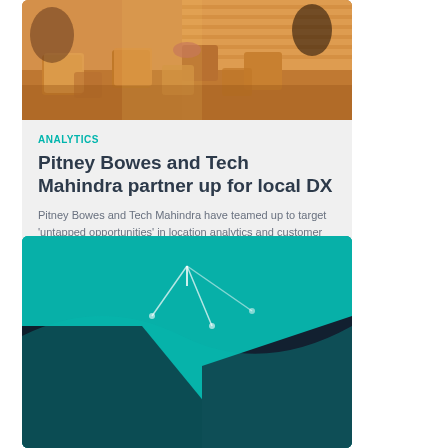[Figure (photo): Photo of wooden blocks being arranged on a table, warm orange tones, business people visible]
ANALYTICS
Pitney Bowes and Tech Mahindra partner up for local DX
Pitney Bowes and Tech Mahindra have teamed up to target ‘untapped opportunities’ in location analytics and customer engagement solutions locally.
[Figure (photo): Teal and dark navy abstract/graphic design card, partial view]